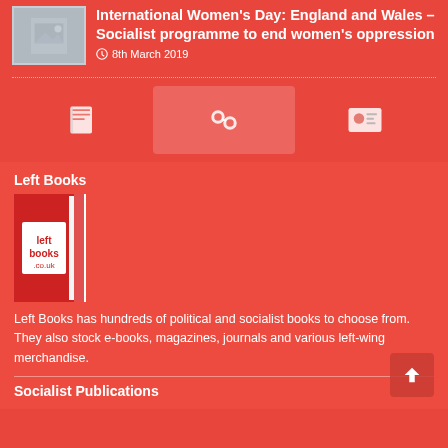[Figure (screenshot): Thumbnail image placeholder for article]
International Women's Day: England and Wales – Socialist programme to end women's oppression
8th March 2019
[Figure (infographic): Three icon tabs: book icon (active), chain links icon, contact card icon]
Left Books
[Figure (logo): Left Books logo - red book with 'left books .co.uk' text]
Left Books has hundreds of political and socialist books to choose from. They also stock e-books, magazines, journals and various left-wing merchandise.
Socialist Publications